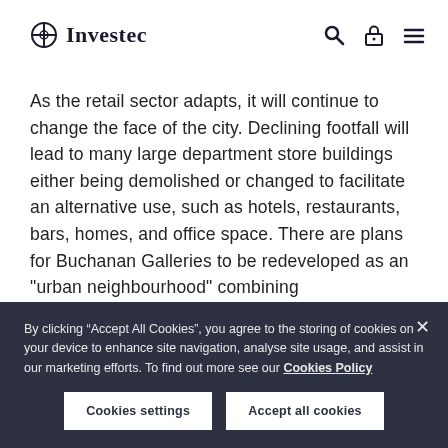Investec
As the retail sector adapts, it will continue to change the face of the city. Declining footfall will lead to many large department store buildings either being demolished or changed to facilitate an alternative use, such as hotels, restaurants, bars, homes, and office space. There are plans for Buchanan Galleries to be redeveloped as an "urban neighbourhood" combining
By clicking “Accept All Cookies”, you agree to the storing of cookies on your device to enhance site navigation, analyse site usage, and assist in our marketing efforts. To find out more see our Cookies Policy
Cookies settings   Accept all cookies